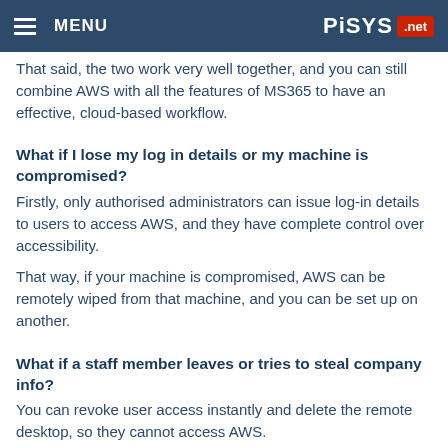MENU | PiSYS .net
That said, the two work very well together, and you can still combine AWS with all the features of MS365 to have an effective, cloud-based workflow.
What if I lose my log in details or my machine is compromised?
Firstly, only authorised administrators can issue log-in details to users to access AWS, and they have complete control over accessibility.
That way, if your machine is compromised, AWS can be remotely wiped from that machine, and you can be set up on another.
What if a staff member leaves or tries to steal company info?
You can revoke user access instantly and delete the remote desktop, so they cannot access AWS.